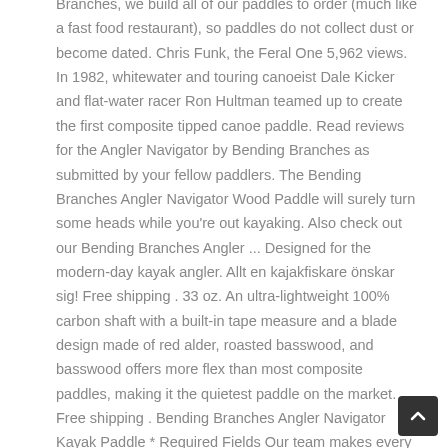Branches, we build all of our paddles to order (much like a fast food restaurant), so paddles do not collect dust or become dated. Chris Funk, the Feral One 5,962 views. In 1982, whitewater and touring canoeist Dale Kicker and flat-water racer Ron Hultman teamed up to create the first composite tipped canoe paddle. Read reviews for the Angler Navigator by Bending Branches as submitted by your fellow paddlers. The Bending Branches Angler Navigator Wood Paddle will surely turn some heads while you're out kayaking. Also check out our Bending Branches Angler ... Designed for the modern-day kayak angler. Allt en kajakfiskare önskar sig! Free shipping . 33 oz. An ultra-lightweight 100% carbon shaft with a built-in tape measure and a blade design made of red alder, roasted basswood, and basswood offers more flex than most composite paddles, making it the quietest paddle on the market. Free shipping . Bending Branches Angler Navigator Kayak Paddle * Required Fields Our team makes every effort to respond to questions the same day they are received. UPC: 717320332994. Each blade is sealed in